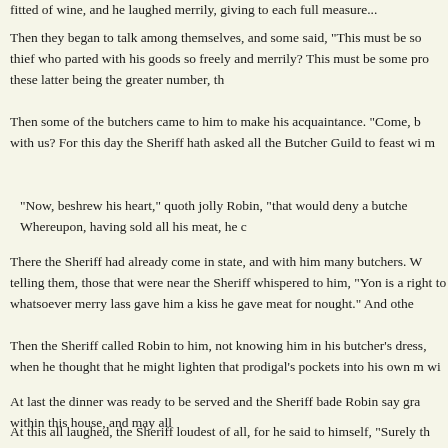fitted of wine, and he laughed merrily, giving to each full measure...
Then they began to talk among themselves, and some said, "This must be so thief who parted with his goods so freely and merrily? This must be some pro these latter being the greater number, th
Then some of the butchers came to him to make his acquaintance. "Come, b with us? For this day the Sheriff hath asked all the Butcher Guild to feast wi m
"Now, beshrew his heart," quoth jolly Robin, "that would deny a butche Whereupon, having sold all his meat, he c
There the Sheriff had already come in state, and with him many butchers. W telling them, those that were near the Sheriff whispered to him, "Yon is a right to whatsoever merry lass gave him a kiss he gave meat for nought." And othe
Then the Sheriff called Robin to him, not knowing him in his butcher's dress, when he thought that he might lighten that prodigal's pockets into his own m wi
At last the dinner was ready to be served and the Sheriff bade Robin say gra within this house, and may all
At this all laughed, the Sheriff loudest of all, for he said to himself, "Surely th fool throweth about so freely." Then he spake aloud to Robin, saying, "Tho